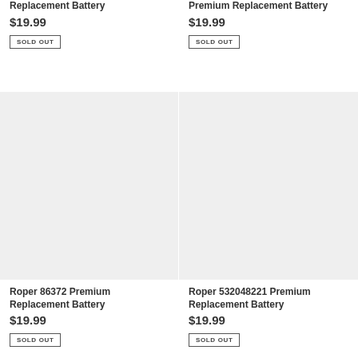Replacement Battery
$19.99
SOLD OUT
Premium Replacement Battery
$19.99
SOLD OUT
[Figure (photo): Placeholder product image for Roper 86372 Premium Replacement Battery]
Roper 86372 Premium Replacement Battery
$19.99
SOLD OUT
[Figure (photo): Placeholder product image for Roper 532048221 Premium Replacement Battery]
Roper 532048221 Premium Replacement Battery
$19.99
SOLD OUT